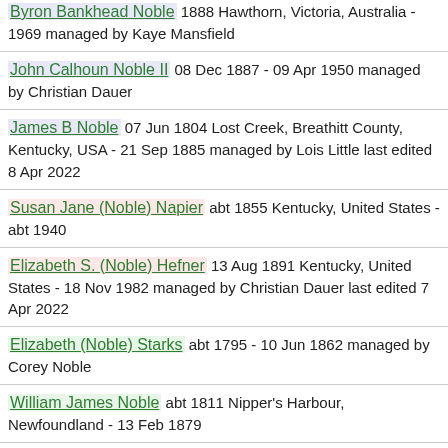Byron Bankhead Noble 1888 Hawthorn, Victoria, Australia - 1969 managed by Kaye Mansfield
John Calhoun Noble II 08 Dec 1887 - 09 Apr 1950 managed by Christian Dauer
James B Noble 07 Jun 1804 Lost Creek, Breathitt County, Kentucky, USA - 21 Sep 1885 managed by Lois Little last edited 8 Apr 2022
Susan Jane (Noble) Napier abt 1855 Kentucky, United States - abt 1940
Elizabeth S. (Noble) Hefner 13 Aug 1891 Kentucky, United States - 18 Nov 1982 managed by Christian Dauer last edited 7 Apr 2022
Elizabeth (Noble) Starks abt 1795 - 10 Jun 1862 managed by Corey Noble
William James Noble abt 1811 Nipper's Harbour, Newfoundland - 13 Feb 1879
George Noble...